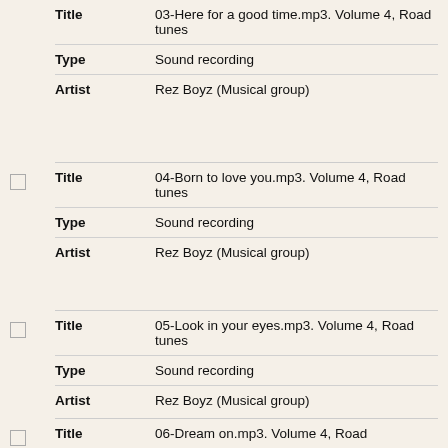| Field | Value |
| --- | --- |
| Title | 03-Here for a good time.mp3. Volume 4, Road tunes |
| Type | Sound recording |
| Artist | Rez Boyz (Musical group) |
| Field | Value |
| --- | --- |
| Title | 04-Born to love you.mp3. Volume 4, Road tunes |
| Type | Sound recording |
| Artist | Rez Boyz (Musical group) |
| Field | Value |
| --- | --- |
| Title | 05-Look in your eyes.mp3. Volume 4, Road tunes |
| Type | Sound recording |
| Artist | Rez Boyz (Musical group) |
| Field | Value |
| --- | --- |
| Title | 06-Dream on.mp3. Volume 4, Road |